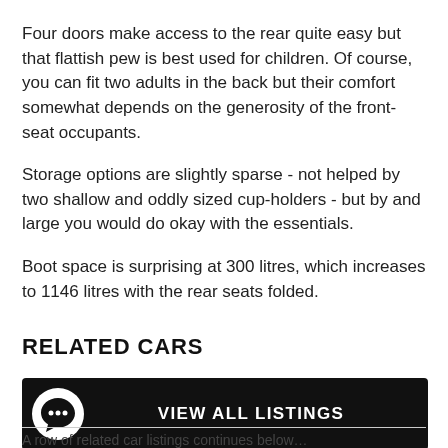Four doors make access to the rear quite easy but that flattish pew is best used for children. Of course, you can fit two adults in the back but their comfort somewhat depends on the generosity of the front-seat occupants.
Storage options are slightly sparse - not helped by two shallow and oddly sized cup-holders - but by and large you would do okay with the essentials.
Boot space is surprising at 300 litres, which increases to 1146 litres with the rear seats folded.
RELATED CARS
[Figure (other): Black button bar with chat bubble icon on the left and 'VIEW ALL LISTINGS' text centered in white on dark background]
A row of related car listings continues below